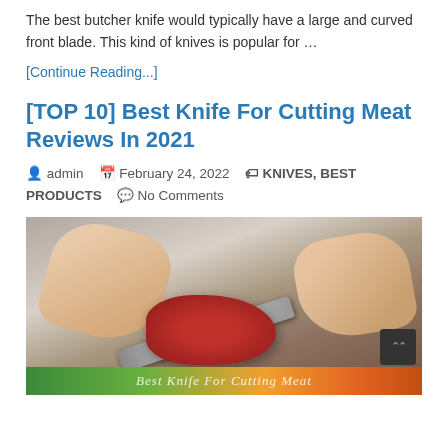The best butcher knife would typically have a large and curved front blade. This kind of knives is popular for …
[Continue Reading...]
[TOP 10] Best Knife For Cutting Meat Reviews In 2021
admin   February 24, 2022   KNIVES, BEST PRODUCTS   No Comments
[Figure (photo): Hands cutting raw meat with a large knife on a cutting board, with a decorative banner overlay at the bottom reading 'Best Knife For Cutting Meat']